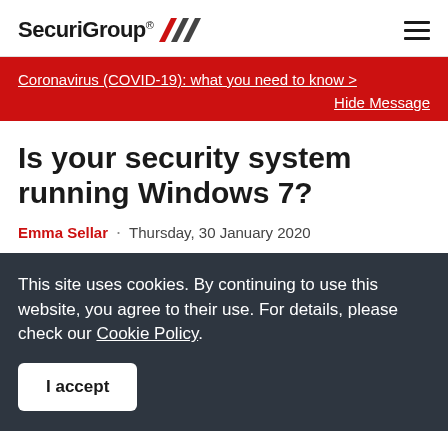SecuriGroup® /// ☰
Coronavirus (COVID-19): what you need to know > Hide Message
Is your security system running Windows 7?
Emma Sellar · Thursday, 30 January 2020
This site uses cookies. By continuing to use this website, you agree to their use. For details, please check our Cookie Policy.
I accept